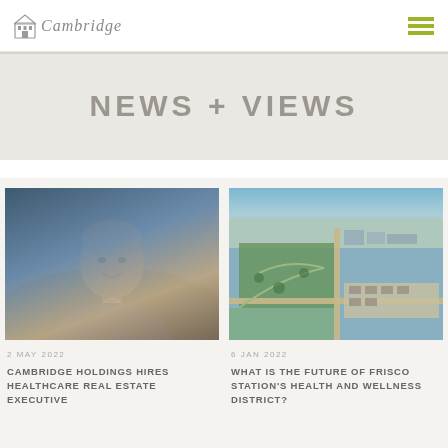[Figure (logo): Cambridge Holdings logo with stylized building icon and cursive Cambridge text]
NEWS + VIEWS
[Figure (photo): Professional headshot of a middle-aged man in a blue suit, smiling]
2 MAY 2022
CAMBRIDGE HOLDINGS HIRES HEALTHCARE REAL ESTATE EXECUTIVE
[Figure (photo): Aerial photograph of Frisco Station development area showing land, roads, and surrounding urban development]
6 JAN 2022
WHAT IS THE FUTURE OF FRISCO STATION'S HEALTH AND WELLNESS DISTRICT?